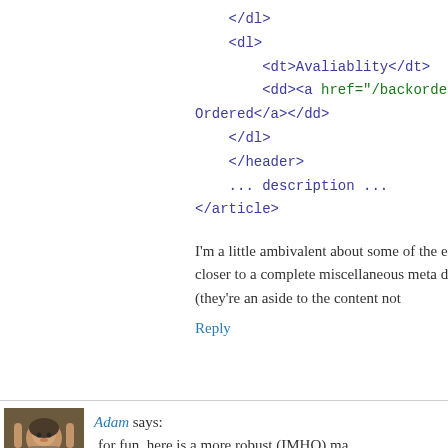</dl>
<dl>
    <dt>Avaliablity</dt>
    <dd><a href="/backorder.
Ordered</a></dd>
</dl>
</header>
... description ...
</article>
I'm a little ambivalent about some of the e but this strikes me as closer to a complete miscellaneous meta data and an <aside> o action (they're an aside to the content not
Reply
Adam says:
for fun, here is a more robust (IMHO) ma